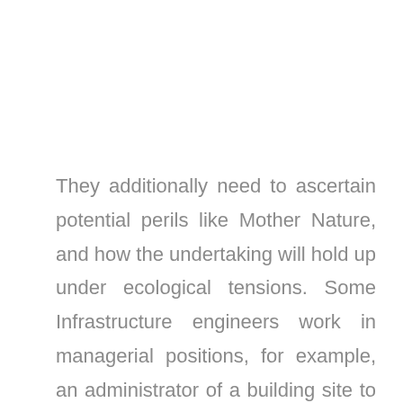They additionally need to ascertain potential perils like Mother Nature, and how the undertaking will hold up under ecological tensions. Some Infrastructure engineers work in managerial positions, for example, an administrator of a building site to city engineer. Others might work in plan, development, examination, and training. Similarly as with any career, achievement